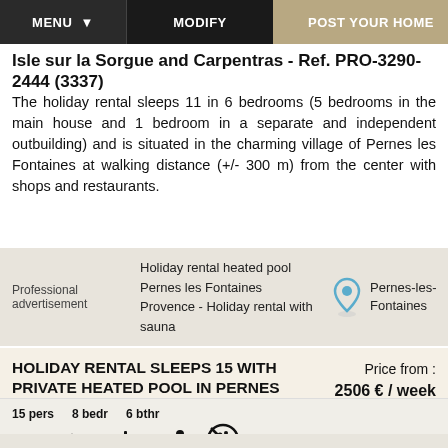MENU ▾   MODIFY   POST YOUR HOME
Isle sur la Sorgue and Carpentras - Ref. PRO-3290-2444 (3337)
The holiday rental sleeps 11 in 6 bedrooms (5 bedrooms in the main house and 1 bedroom in a separate and independent outbuilding) and is situated in the charming village of Pernes les Fontaines at walking distance (+/- 300 m) from the center with shops and restaurants.
Professional advertisement
Holiday rental heated pool
Pernes les Fontaines
Provence - Holiday rental with sauna
Pernes-les-Fontaines
HOLIDAY RENTAL SLEEPS 15 WITH PRIVATE HEATED POOL IN PERNES LES FONTAINES IN PROVENCE
Price from : 2506 € / week
15 pers  8 bedr  6 bthr